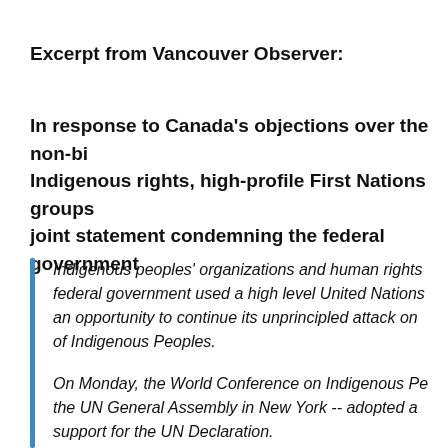Excerpt from Vancouver Observer:
In response to Canada's objections over the non-binding nature of Indigenous rights, high-profile First Nations groups issued a joint statement condemning the federal government
Indigenous peoples' organizations and human rights groups say the federal government used a high level United Nations gathering as an opportunity to continue its unprincipled attack on the Declaration of Indigenous Peoples.

On Monday, the World Conference on Indigenous Peoples -- held at the UN General Assembly in New York -- adopted a document showing support for the UN Declaration.